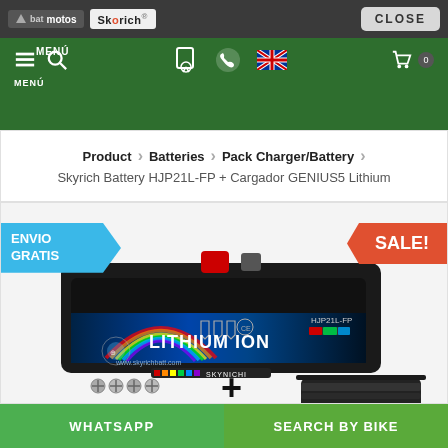batmotos | Skyrich — CLOSE
MENÚ
Product > Batteries > Pack Charger/Battery
Skyrich Battery HJP21L-FP + Cargador GENIUS5 Lithium
[Figure (photo): Product photo of Skyrich Lithium Ion battery HJP21L-FP with screws and charger accessory, ENVIO GRATIS badge on left, SALE! badge on right]
WHATSAPP | SEARCH BY BIKE